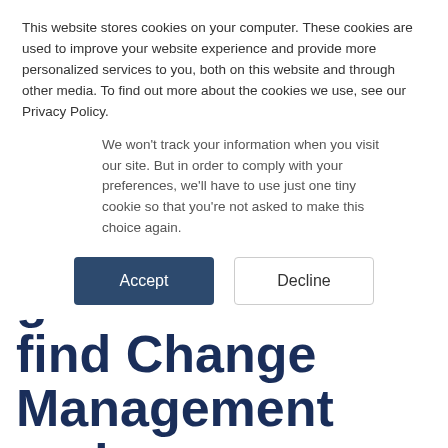This website stores cookies on your computer. These cookies are used to improve your website experience and provide more personalized services to you, both on this website and through other media. To find out more about the cookies we use, see our Privacy Policy.
We won't track your information when you visit our site. But in order to comply with your preferences, we'll have to use just one tiny cookie so that you're not asked to make this choice again.
Accept
Decline
find Change Management and DevOps impediments to Agile Transformation - Part 2